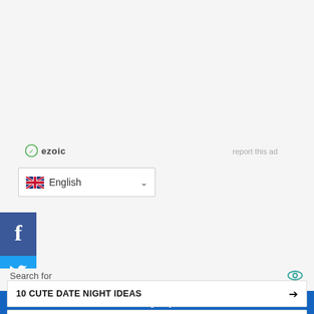[Figure (logo): Ezoic ad platform logo with green circle icon and bold text 'ezoic']
report this ad
[Figure (other): Language selector dropdown showing UK flag and 'English' with chevron]
[Figure (other): Facebook share button - dark blue square with white 'f' letter]
[Figure (other): Twitter share button - light blue square with white bird icon]
We use cookies on our website to give you the most relevant experience by remembering your preferences and repeat visits. By clicking “Accept”, you consent to the use of ALL the
Search for
10 CUTE DATE NIGHT IDEAS
MOVIE DATE IDEAS